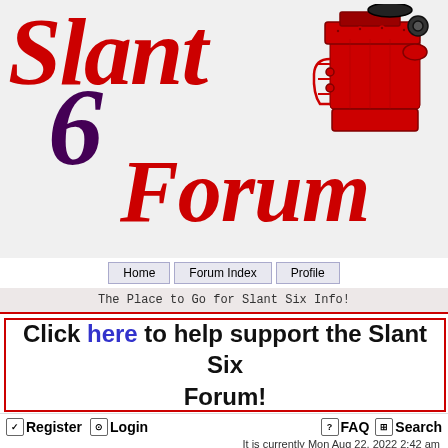[Figure (logo): Slant Six Forum logo with red italic cursive 'Slant' text, purple/dark italic '6', dark red cursive 'Forum' text, and a red illustration of a slant-six engine on the right side]
Home | Forum Index | Profile
The Place to Go for Slant Six Info!
Click here to help support the Slant Six Forum!
Register  Login  FAQ  Search
It is currently Mon Aug 22, 2022 2:42 am
Unanswered topics | Active topics